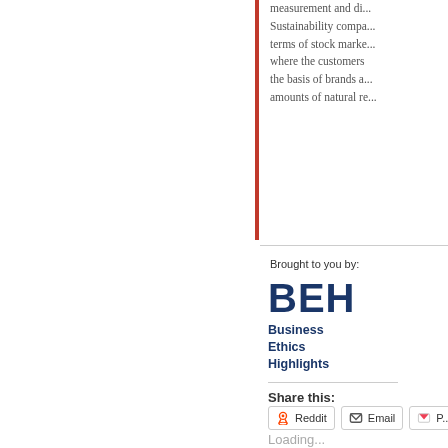measurement and di... Sustainability compa... terms of stock marke... where the customers the basis of brands a... amounts of natural re...
Brought to you by:
[Figure (logo): BEH Business Ethics Highlights logo with large blue BEH letters and subtitle text]
Share this:
Reddit   Email   P...
Loading...